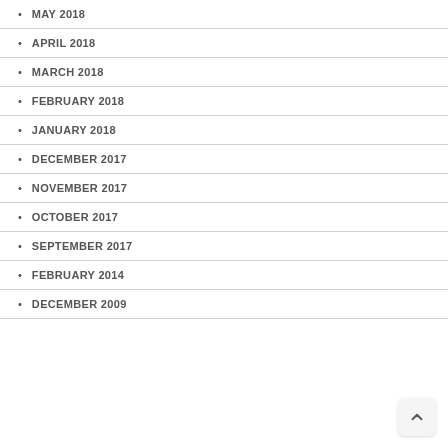MAY 2018
APRIL 2018
MARCH 2018
FEBRUARY 2018
JANUARY 2018
DECEMBER 2017
NOVEMBER 2017
OCTOBER 2017
SEPTEMBER 2017
FEBRUARY 2014
DECEMBER 2009